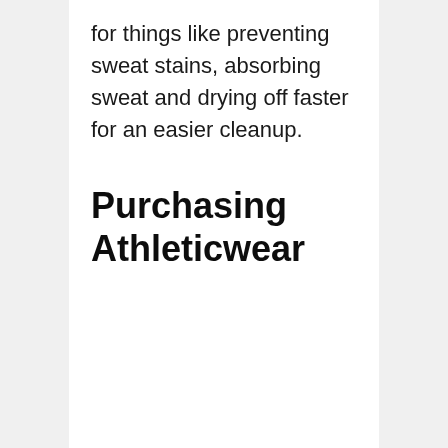for things like preventing sweat stains, absorbing sweat and drying off faster for an easier cleanup.
Purchasing Athleticwear